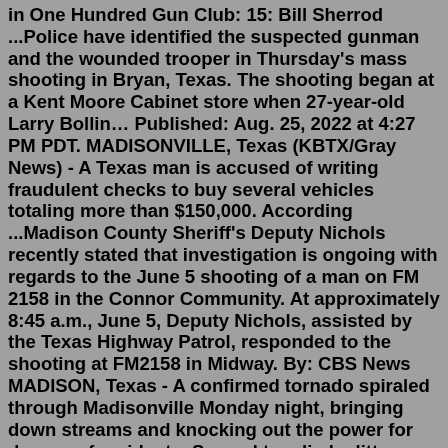in One Hundred Gun Club: 15: Bill Sherrod ...Police have identified the suspected gunman and the wounded trooper in Thursday's mass shooting in Bryan, Texas. The shooting began at a Kent Moore Cabinet store when 27-year-old Larry Bollin… Published: Aug. 25, 2022 at 4:27 PM PDT. MADISONVILLE, Texas (KBTX/Gray News) - A Texas man is accused of writing fraudulent checks to buy several vehicles totaling more than $150,000. According ...Madison County Sheriff's Deputy Nichols recently stated that investigation is ongoing with regards to the June 5 shooting of a man on FM 2158 in the Connor Community. At approximately 8:45 a.m., June 5, Deputy Nichols, assisted by the Texas Highway Patrol, responded to the shooting at FM2158 in Midway. By: CBS News MADISON, Texas - A confirmed tornado spiraled through Madisonville Monday night, bringing down streams and knocking out the power for dozens of residents. Several tree limbs litter the...Madisonville 4th of July Celebration. Monday, Jul 4, 2022 at 4:00pm. Lake Madison Park.